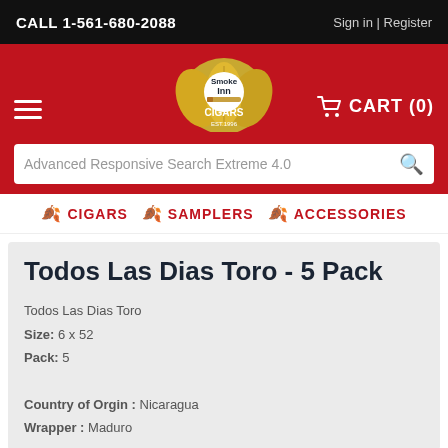CALL 1-561-680-2088 | Sign in | Register
[Figure (logo): Smoke Inn Cigars Est. 1996 logo with tobacco leaf and cigar]
CART (0)
Advanced Responsive Search Extreme 4.0
CIGARS
SAMPLERS
ACCESSORIES
Todos Las Dias Toro - 5 Pack
Todos Las Dias Toro
Size: 6 x 52
Pack: 5

Country of Orgin : Nicaragua
Wrapper : Maduro